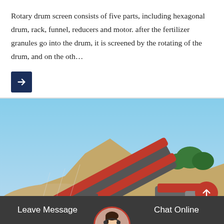Rotary drum screen consists of five parts, including hexagonal drum, rack, funnel, reducers and motor. after the fertilizer granules go into the drum, it is screened by the rotating of the drum, and on the oth…
[Figure (other): Arrow button (right-pointing white arrow on dark navy background)]
[Figure (photo): Outdoor photograph of a large red industrial screening/conveying machine (rotary drum screen or similar heavy equipment) at a quarry or construction site, with sand/gravel piles, rocky hillside, and trees in the background under a blue sky.]
Leave Message
Chat Online